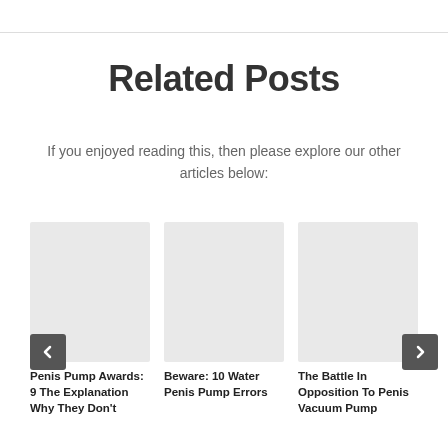Related Posts
If you enjoyed reading this, then please explore our other articles below:
[Figure (photo): Three article card thumbnails with gray placeholder images and titles below]
Penis Pump Awards: 9 The Explanation Why They Don't
Beware: 10 Water Penis Pump Errors
The Battle In Opposition To Penis Vacuum Pump